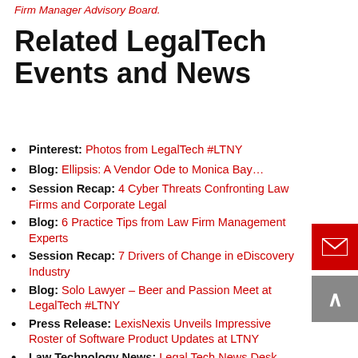Firm Manager Advisory Board.
Related LegalTech Events and News
Pinterest:  Photos from LegalTech #LTNY
Blog: Ellipsis: A Vendor Ode to Monica Bay…
Session Recap: 4 Cyber Threats Confronting Law Firms and Corporate Legal
Blog: 6 Practice Tips from Law Firm Management Experts
Session Recap:  7 Drivers of Change in eDiscovery Industry
Blog: Solo Lawyer – Beer and Passion Meet at LegalTech #LTNY
Press Release:  LexisNexis Unveils Impressive Roster of Software Product Updates at LTNY
Law Technology News:  Legal Tech News Desk